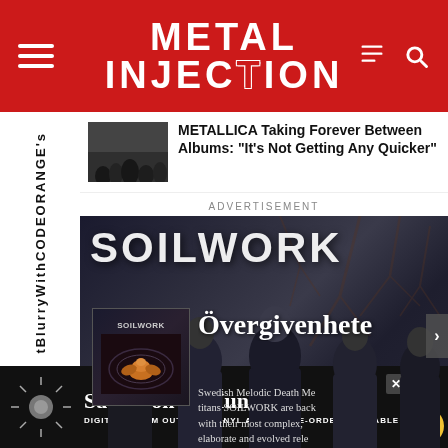Metal Injection
BlurryWithCODEORANGE's
[Figure (photo): Article thumbnail showing a concert crowd with number 7 badge]
METALLICA Taking Forever Between Albums: "It's Not Getting Any Quicker"
ADVERTISEMENT
[Figure (photo): Soilwork band advertisement showing the band members standing together with album art for Overgivenheten. Text reads: Swedish Melodic Death Metal titans SOILWORK are back with their most complex, elaborate and evolved release, Overgivenheten.]
[Figure (photo): Bottom advertisement banner for Satyricon & Munch album. Text: Digital Album Out Now, Vinyl and CD Pre-Order Available!]